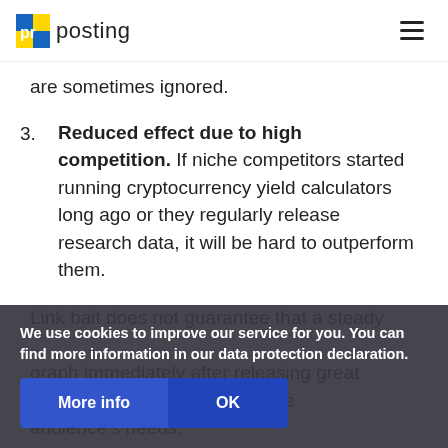pr posting
are sometimes ignored.
3. Reduced effect due to high competition. If niche competitors started running cryptocurrency yield calculators long ago or they regularly release research data, it will be hard to outperform them.
Link bait does not guarantee that a steady ... graph immediately after releasing great ... content creation tool that covers the audience's needs.
We use cookies to improve our service for you. You can find more information in our data protection declaration.